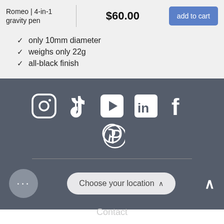Romeo | 4-in-1 gravity pen
$60.00
add to cart
only 10mm diameter
weighs only 22g
all-black finish
[Figure (infographic): Social media icons: Instagram, TikTok, YouTube, LinkedIn, Facebook, Pinterest]
Choose your location
Contact